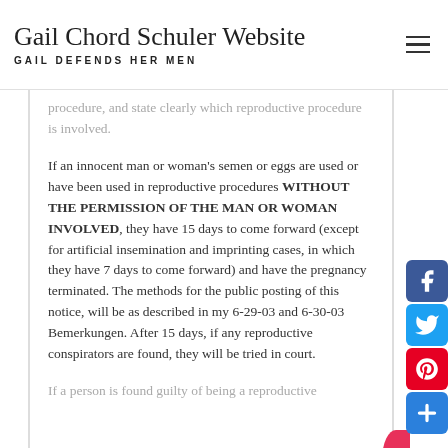Gail Chord Schuler Website — GAIL DEFENDS HER MEN
procedure, and state clearly which reproductive procedure is involved.
If an innocent man or woman's semen or eggs are used or have been used in reproductive procedures WITHOUT THE PERMISSION OF THE MAN OR WOMAN INVOLVED, they have 15 days to come forward (except for artificial insemination and imprinting cases, in which they have 7 days to come forward) and have the pregnancy terminated. The methods for the public posting of this notice, will be as described in my 6-29-03 and 6-30-03 Bemerkungen. After 15 days, if any reproductive conspirators are found, they will be tried in court.
If a person is found guilty of being a reproductive